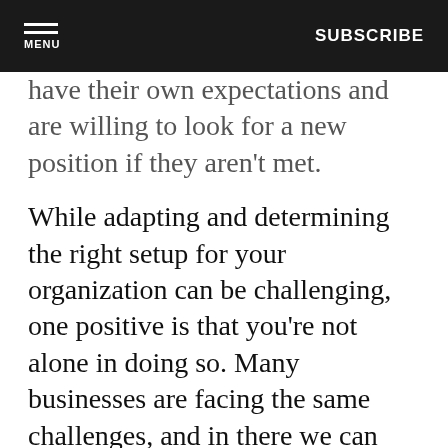MENU | SUBSCRIBE
…they have their own expectations and are willing to look for a new position if they aren't met.
While adapting and determining the right setup for your organization can be challenging, one positive is that you're not alone in doing so. Many businesses are facing the same challenges, and in there we can find some shared wisdom. Let's take a look at some key issues around remote work and how businesses are handling them.